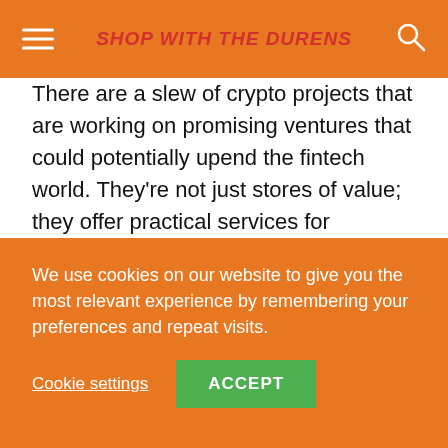SHOP WITH THE DURENS
There are a slew of crypto projects that are working on promising ventures that could potentially upend the fintech world. They’re not just stores of value; they offer practical services for businesses, developers, digital artists, and more. That being said, let’s dive into the best cryptocurrencies of 2021 by utility.
What is the best cryptocurrency
We use cookies on our website to give you the most relevant experience by remembering your preferences and repeat visits.
Cookie settings   ACCEPT